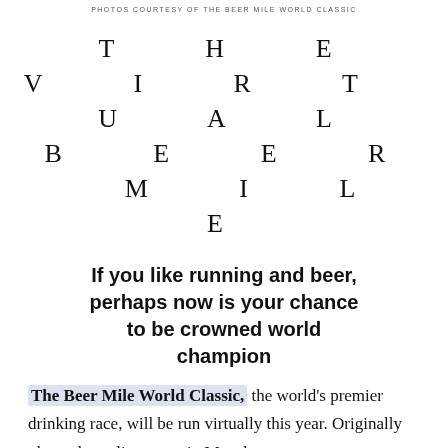PHOTOS COURTESY OF THE BEER MILE WORLD CLASSIC
THE VIRTUAL BEER MILE
If you like running and beer, perhaps now is your chance to be crowned world champion
The Beer Mile World Classic, the world's premier drinking race, will be run virtually this year. Originally planned as a live event in Manchester,